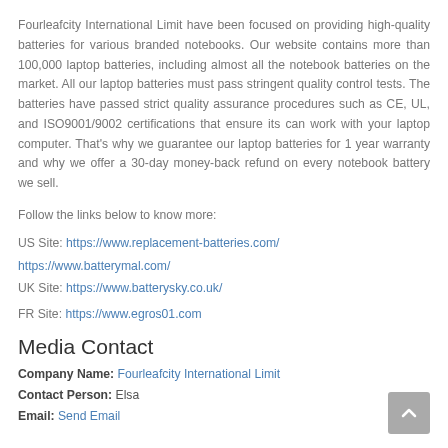Fourleafcity International Limit have been focused on providing high-quality batteries for various branded notebooks. Our website contains more than 100,000 laptop batteries, including almost all the notebook batteries on the market. All our laptop batteries must pass stringent quality control tests. The batteries have passed strict quality assurance procedures such as CE, UL, and ISO9001/9002 certifications that ensure its can work with your laptop computer. That's why we guarantee our laptop batteries for 1 year warranty and why we offer a 30-day money-back refund on every notebook battery we sell.
Follow the links below to know more:
US Site: https://www.replacement-batteries.com/
https://www.batterymal.com/
UK Site: https://www.batterysky.co.uk/
FR Site: https://www.egros01.com
Media Contact
Company Name: Fourleafcity International Limit
Contact Person: Elsa
Email: Send Email